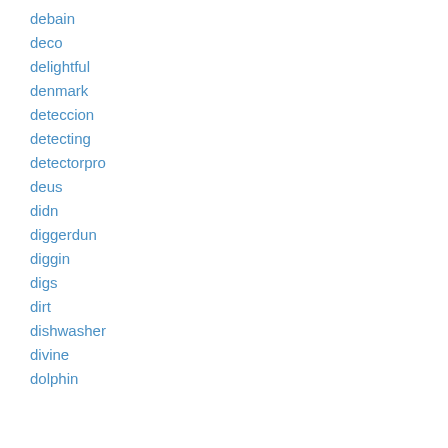debain
deco
delightful
denmark
deteccion
detecting
detectorpro
deus
didn
diggerdun
diggin
digs
dirt
dishwasher
divine
dolphin